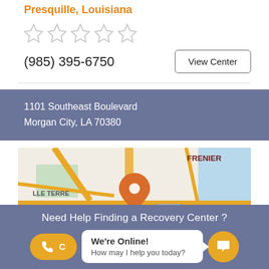Presquille, Louisiana
[Figure (other): Five empty/unfilled star rating icons in light gray]
(985) 395-6750
View Center
1101 Southeast Boulevard
Morgan City, LA 70380
[Figure (map): Street map showing Frenier area, LLE Terre, I 10 highway with orange map pin marker]
Need Help Finding a Recovery Center ?
We're Online!
How may I help you today?